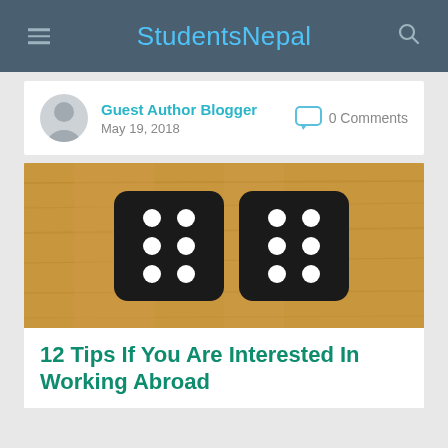StudentsNepal
Guest Author Blogger
May 19, 2018
0 Comments
[Figure (photo): Two black dice with white dots on a wooden surface]
12 Tips If You Are Interested In Working Abroad